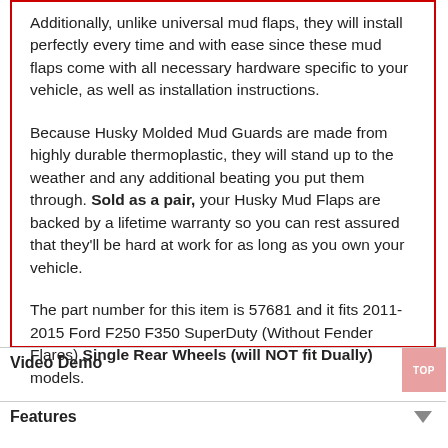Additionally, unlike universal mud flaps, they will install perfectly every time and with ease since these mud flaps come with all necessary hardware specific to your vehicle, as well as installation instructions.

Because Husky Molded Mud Guards are made from highly durable thermoplastic, they will stand up to the weather and any additional beating you put them through. Sold as a pair, your Husky Mud Flaps are backed by a lifetime warranty so you can rest assured that they'll be hard at work for as long as you own your vehicle.

The part number for this item is 57681 and it fits 2011-2015 Ford F250 F350 SuperDuty (Without Fender Flares) Single Rear Wheels (will NOT fit Dually) models.
Video Demo
Features